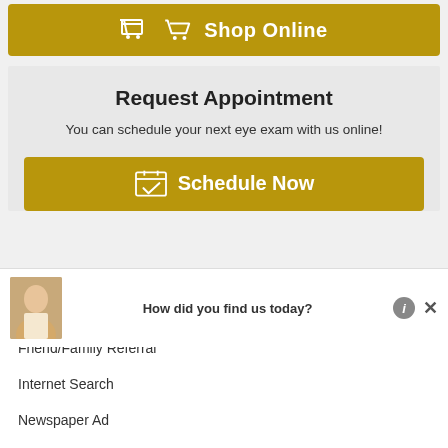[Figure (screenshot): Golden Shop Online button with shopping cart icon]
Request Appointment
You can schedule your next eye exam with us online!
[Figure (screenshot): Golden Schedule Now button with calendar icon]
How did you find us today?
Friend/Family Referral
Internet Search
Newspaper Ad
Yellow Pages
Walk-by/Drive-by
Other (please specify)  Submit